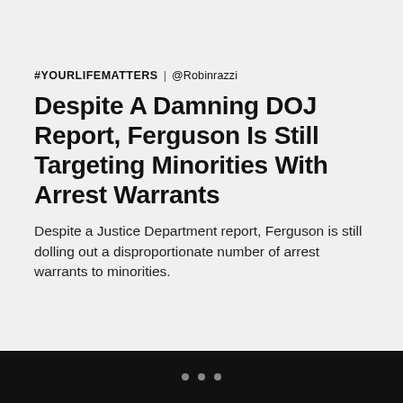#YOURLIFEMATTERS | @Robinrazzi
Despite A Damning DOJ Report, Ferguson Is Still Targeting Minorities With Arrest Warrants
Despite a Justice Department report, Ferguson is still dolling out a disproportionate number of arrest warrants to minorities.